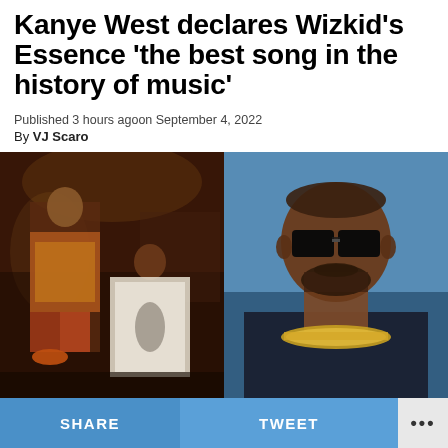Kanye West declares Wizkid's Essence 'the best song in the history of music'
Published 3 hours agoon September 4, 2022
By VJ Scaro
[Figure (photo): Left panel: Wizkid and a woman in artistic clothing posing at night outdoors. Right panel: Kanye West wearing black sunglasses and a gold chain necklace, dressed in a dark blazer.]
SHARE   TWEET   ...